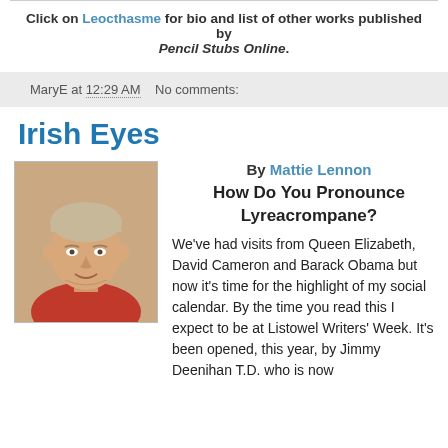Click on Leocthasme for bio and list of other works published by Pencil Stubs Online.
MaryE at 12:29 AM   No comments:
Irish Eyes
By Mattie Lennon
How Do You Pronounce Lyreacrompane?
[Figure (photo): Photo of Mattie Lennon, a middle-aged man with light hair wearing a red shirt]
We've had visits from Queen Elizabeth, David Cameron and Barack Obama but now it's time for the highlight of my social calendar. By the time you read this I expect to be at Listowel Writers' Week. It's been opened, this year, by Jimmy Deenihan T.D. who is now